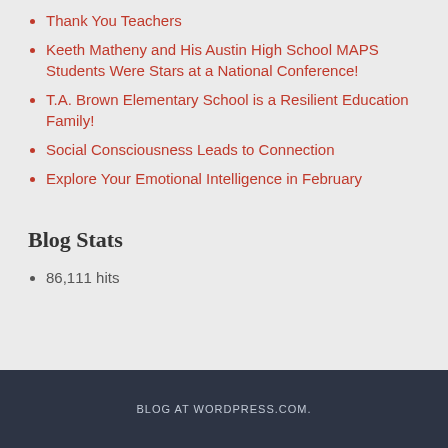Thank You Teachers
Keeth Matheny and His Austin High School MAPS Students Were Stars at a National Conference!
T.A. Brown Elementary School is a Resilient Education Family!
Social Consciousness Leads to Connection
Explore Your Emotional Intelligence in February
Blog Stats
86,111 hits
BLOG AT WORDPRESS.COM.